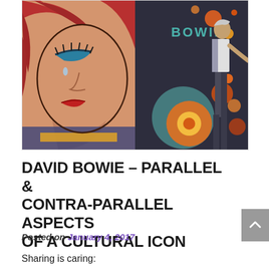[Figure (illustration): Split image: left half shows a pop-art style crying woman with red hair and blue eyeshadow (Roy Lichtenstein style); right half shows an illustrated figure of David Bowie against a dark background with colorful circles/dots in orange, teal, yellow colors, with the word BOWIE in teal text]
DAVID BOWIE – PARALLEL & CONTRA-PARALLEL ASPECTS OF A CULTURAL ICON
Posted on January 4, 2017
Sharing is caring: